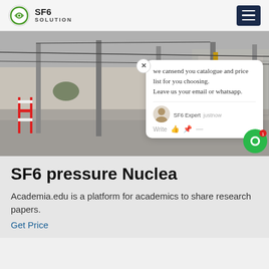SF6 SOLUTION
[Figure (photo): Outdoor electrical substation or industrial site with metal poles, construction equipment (yellow crane/excavator), red and white barriers, gravel ground, and fencing. A chat popup overlay is visible in the lower right corner of the image.]
SF6 pressure Nuclea
Academia.edu is a platform for academics to share research papers.
Get Price